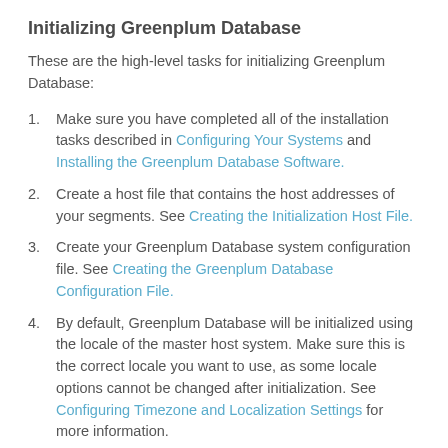Initializing Greenplum Database
These are the high-level tasks for initializing Greenplum Database:
Make sure you have completed all of the installation tasks described in Configuring Your Systems and Installing the Greenplum Database Software.
Create a host file that contains the host addresses of your segments. See Creating the Initialization Host File.
Create your Greenplum Database system configuration file. See Creating the Greenplum Database Configuration File.
By default, Greenplum Database will be initialized using the locale of the master host system. Make sure this is the correct locale you want to use, as some locale options cannot be changed after initialization. See Configuring Timezone and Localization Settings for more information.
Run the Greenplum Database initialization utility on the